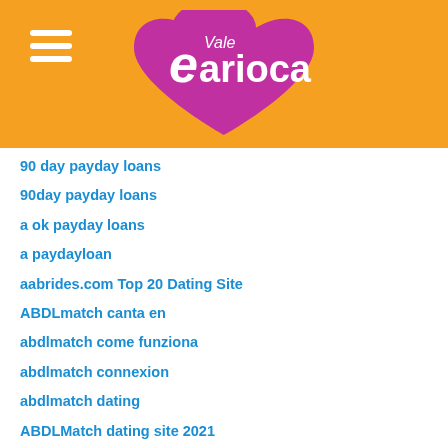[Figure (logo): Vale Carioca logo with pink heart shape and white text on orange background header]
90 day payday loans
90day payday loans
a ok payday loans
a paydayloan
aabrides.com Top 20 Dating Site
ABDLmatch canta en
abdlmatch come funziona
abdlmatch connexion
abdlmatch dating
ABDLMatch dating site 2021
abdlmatch fr sito di incontri
abdlmatch inscription
abdlmatch it reviews
abdlmatch italia